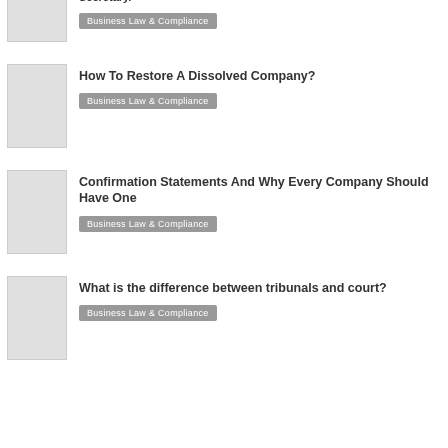Secretary?
How To Restore A Dissolved Company?
Confirmation Statements And Why Every Company Should Have One
What is the difference between tribunals and court?